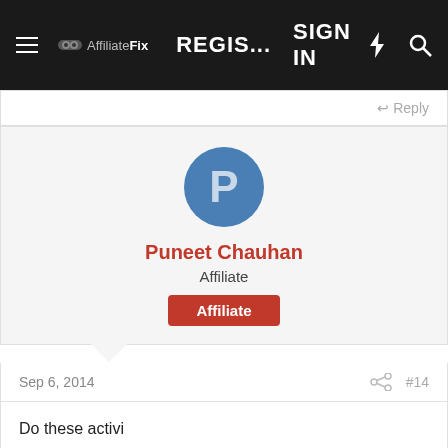AffiliateFix — REGIS... SIGN IN
↩ Reply
[Figure (illustration): Blue circle avatar with letter P for user Puneet Chauhan]
Puneet Chauhan
Affiliate
Affiliate (badge)
Sep 6, 2014   #14
Do these activi blog commentin forum posting directory submi article submission
Welcome to Our Community Wanting to join the rest of our members? Feel free to sign up today.